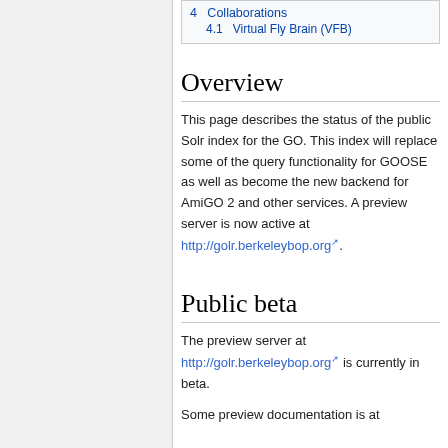4 Collaborations
4.1 Virtual Fly Brain (VFB)
Overview
This page describes the status of the public Solr index for the GO. This index will replace some of the query functionality for GOOSE as well as become the new backend for AmiGO 2 and other services. A preview server is now active at http://golr.berkeleybop.org.
Public beta
The preview server at http://golr.berkeleybop.org is currently in beta.
Some preview documentation is at